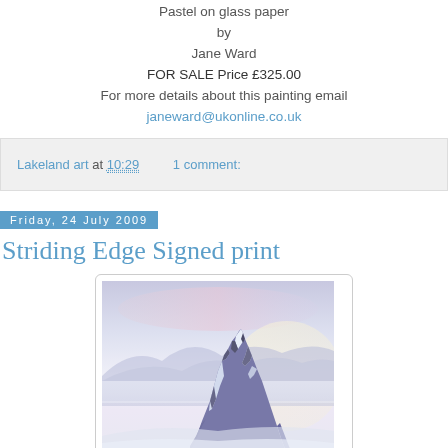Pastel on glass paper
by
Jane Ward
FOR SALE Price £325.00
For more details about this painting email
janeward@ukonline.co.uk
Lakeland art at 10:29   1 comment:
Friday, 24 July 2009
Striding Edge Signed print
[Figure (photo): A watercolour/pastel painting of Striding Edge, Helvellyn, showing a dramatic snow-covered rocky ridge rising from misty valleys, with a soft purple and pink sky in the background.]